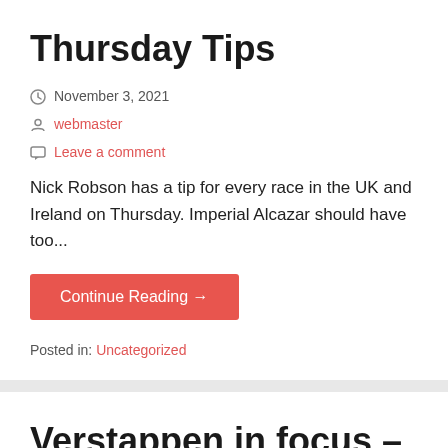Thursday Tips
November 3, 2021
webmaster
Leave a comment
Nick Robson has a tip for every race in the UK and Ireland on Thursday. Imperial Alcazar should have too...
Continue Reading →
Posted in: Uncategorized
Verstappen in focus – and